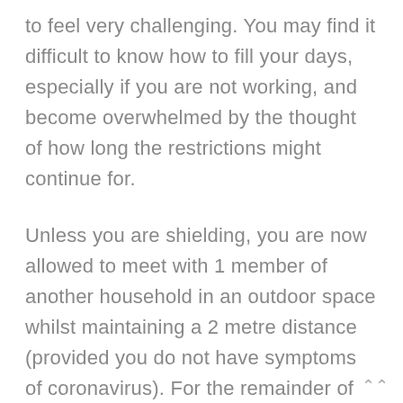to feel very challenging. You may find it difficult to know how to fill your days, especially if you are not working, and become overwhelmed by the thought of how long the restrictions might continue for.
Unless you are shielding, you are now allowed to meet with 1 member of another household in an outdoor space whilst maintaining a 2 metre distance (provided you do not have symptoms of coronavirus). For the remainder of the time you are at